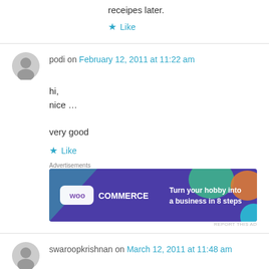receipes later.
★ Like
podi on February 12, 2011 at 11:22 am
hi,
nice ...

very good
★ Like
Advertisements
[Figure (other): WooCommerce advertisement banner: Turn your hobby into a business in 8 steps]
REPORT THIS AD
swaroopkrishnan on March 12, 2011 at 11:48 am